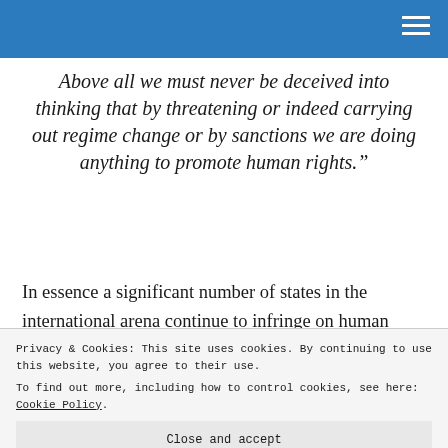Above all we must never be deceived into thinking that by threatening or indeed carrying out regime change or by sanctions we are doing anything to promote human rights.”
In essence a significant number of states in the international arena continue to infringe on human rights, and many in the West are no exception to this. However, Western states are generally more stable than those excluded from what we may call the Transatlantic alliance. This stability is primarily
Privacy & Cookies: This site uses cookies. By continuing to use this website, you agree to their use.
To find out more, including how to control cookies, see here: Cookie Policy
Close and accept
transgressions faced by less fortunate populations.